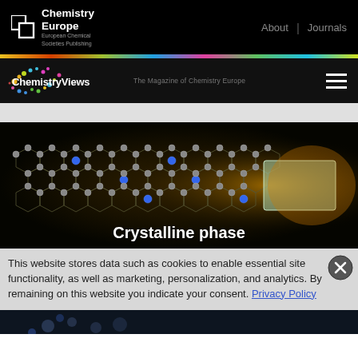[Figure (logo): Chemistry Europe logo with white square icon and brand name, navigation links About and Journals]
[Figure (logo): ChemistryViews logo with colored dot pattern, tagline 'The Magazine of Chemistry Europe', and hamburger menu]
[Figure (photo): Molecular structure visualization showing crystalline phase of a material with hexagonal lattice, labeled 'Crystalline phase']
This website stores data such as cookies to enable essential site functionality, as well as marketing, personalization, and analytics. By remaining on this website you indicate your consent. Privacy Policy